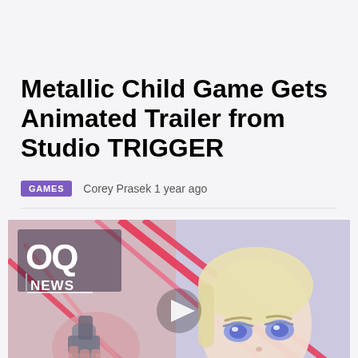Metallic Child Game Gets Animated Trailer from Studio TRIGGER
GAMES   Corey Prasek 1 year ago
[Figure (screenshot): Animated trailer screenshot showing an anime character holding a weapon with red diagonal beam lines, alongside a close-up of a blonde anime girl with blue eyes. OQ NEWS logo overlay in top-left. Play button in center.]